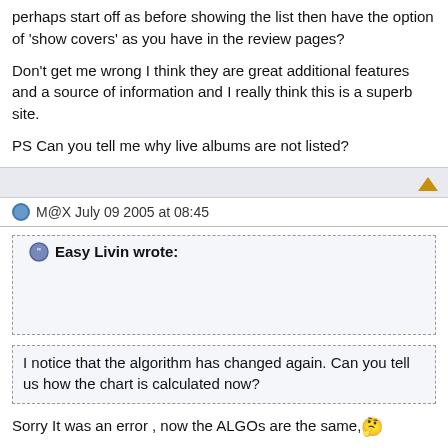perhaps start off as before showing the list then have the option of 'show covers' as you have in the review pages?
Don't get me wrong I think they are great additional features and a source of information and I really think this is a superb site.
PS Can you tell me why live albums are not listed?
M@X July 09 2005 at 08:45
Easy Livin wrote:
I notice that the algorithm has changed again. Can you tell us how the chart is calculated now?
Sorry It was an error , now the ALGOs are the same,